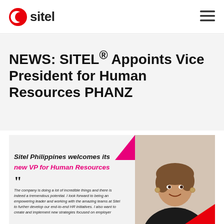Sitel (logo) | hamburger menu
NEWS: SITEL® Appoints Vice President for Human Resources PHANZ
[Figure (photo): Promotional card for Sitel Philippines with photo of new VP for Human Resources. Text reads: 'Sitel Philippines welcomes its new VP for Human Resources'. Quote: 'The company is doing a lot of incredible things and there is indeed a tremendous potential. I look forward to being an empowering leader and working with the amazing teams at Sitel to further develop our end-to-end HR initiatives. I also want to create and implement new strategies focused on employer...']